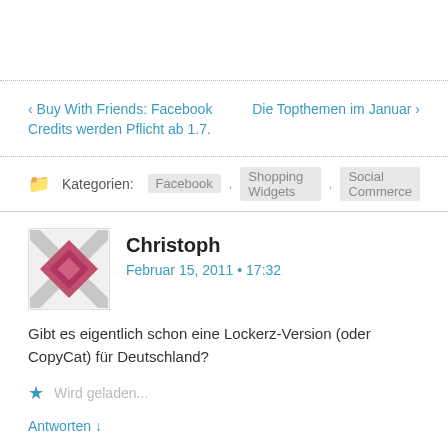‹ Buy With Friends: Facebook Credits werden Pflicht ab 1.7.
Die Topthemen im Januar ›
Kategorien: Facebook , Shopping Widgets , Social Commerce
Christoph
Februar 15, 2011 • 17:32
Gibt es eigentlich schon eine Lockerz-Version (oder CopyCat) für Deutschland?
Wird geladen...
Antworten ↓